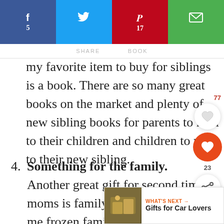f 5 | tweet | p 17 | email
my favorite item to buy for siblings is a book. There are so many great books on the market and plenty of new sibling books for parents to read to their children and children to read to their new sibling.
4. Something for the family. Another great gift for second time moms is family gift. A homemade me frozen family size dinner or a gift
[Figure (infographic): Social sharing sidebar with heart/like buttons showing counts 77 and 23, and a share icon]
[Figure (infographic): What's Next promotional widget: Gifts for Car Lovers with thumbnail image]